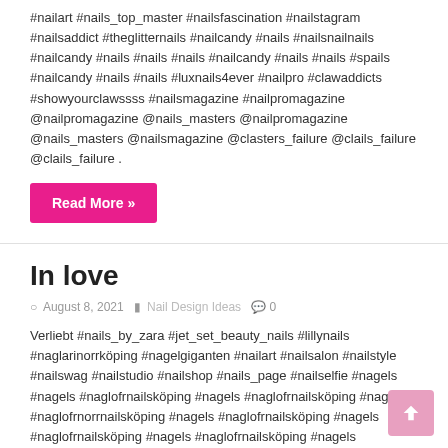#nailart #nails_top_master #nailsfascination #nailstagram #nailsaddict #theglitternails #nailcandy #nails #nailsnailnails #nailcandy #nails #nails #nails #nailcandy #nails #nails #spails #nailcandy #nails #nails #luxnails4ever #nailpro #clawaddicts #showyourclawssss #nailsmagazine #nailpromagazine @nailpromagazine @nails_masters @nailpromagazine @nails_masters @nailsmagazine @clasters_failure @clails_failure @clails_failure .
Read More »
In love
August 8, 2021   Nail Design Ideas   0
Verliebt #nails_by_zara #jet_set_beauty_nails #lillynails #naglarinorrköping #nagelgiganten #nailart #nailsalon #nailstyle #nailswag #nailstudio #nailshop #nails_page #nailselfie #nagels #nagels #naglofrnailsköping #nagels #naglofrnailsköping #nagels #naglofrnorrnailsköping #nagels #naglofrnailsköping #nagels #naglofrnailsköping #nagels #naglofrnailsköping #nagels #naglofrnailsköping. Sweden .